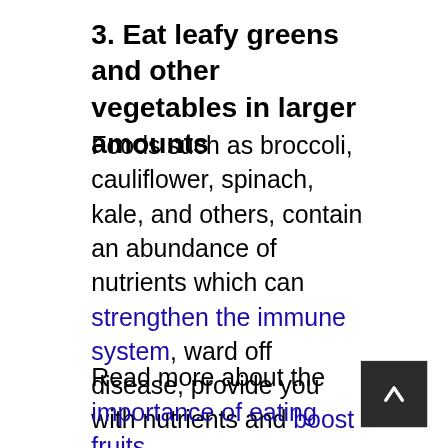3. Eat leafy greens and other vegetables in larger amounts
Foods such as broccoli, cauliflower, spinach, kale, and others, contain an abundance of nutrients which can strengthen the immune system, ward off disease, provide you with nutrients and boost energy.
Read more about the importance of eating fruits